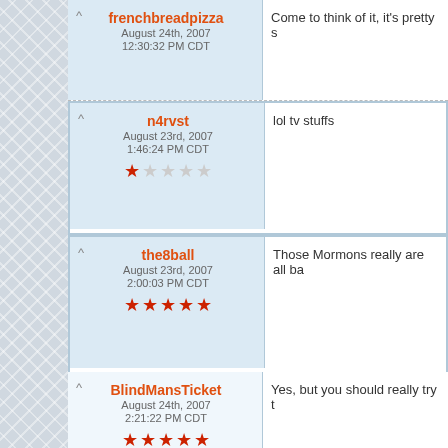frenchbreadpizza | August 24th, 2007 12:30:32 PM CDT | Come to think of it, it's pretty s...
n4rvst | August 23rd, 2007 1:46:24 PM CDT | 1 star | lol tv stuffs
the8ball | August 23rd, 2007 2:00:03 PM CDT | 5 stars | Those Mormons really are all ba...
BlindMansTicket | August 24th, 2007 2:21:22 PM CDT | 5 stars | Yes, but you should really try t...
Father-McKenzie | August 23rd, 2007 5:08:12 PM CDT | 1 star | holy f*cking sh*t its an unfunny n...